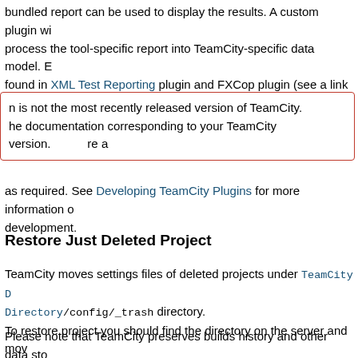bundled report can be used to display the results. A custom plugin will process the tool-specific report into TeamCity-specific data model. Examples found in XML Test Reporting plugin and FXCop plugin (see a link on Bundled Plugins).
n is not the most recently released version of TeamCity. he documentation corresponding to your TeamCity version. re a
as required. See Developing TeamCity Plugins for more information on development.
Restore Just Deleted Project
TeamCity moves settings files of deleted projects under TeamCity Data Directory/config/_trash directory.
To restore project you should find the directory on the server and move it to projects settings directory: <TeamCity Data Directory>/config. you should remove suffix \.projectN from the directory name.
You can do this while server is running, it should pick up restored projects.
Please note that TeamCity preserves builds history and other data stored for deleted projects/build configurations for 24 hours since the deletion. associated data (builds and test history, changes, etc.) is removed during after 24 hours timeout elapses.